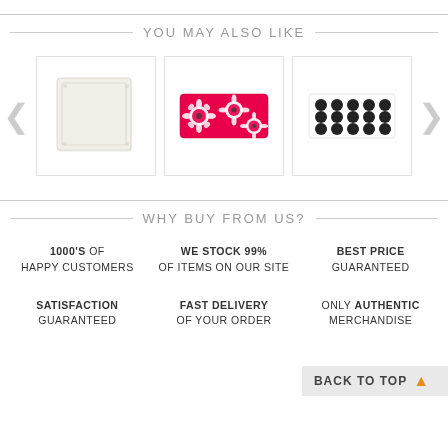YOU MAY ALSO LIKE
[Figure (photo): Carousel of three product pillows: a white square pillow, a pink/red floral lumbar pillow, and a black dotted lumbar pillow, with left and right navigation arrows]
WHY BUY FROM US?
1000'S OF HAPPY CUSTOMERS
WE STOCK 99% OF ITEMS ON OUR SITE
BEST PRICE GUARANTEED
BACK TO TOP
SATISFACTION GUARANTEED
FAST DELIVERY OF YOUR ORDER
ONLY AUTHENTIC MERCHANDISE